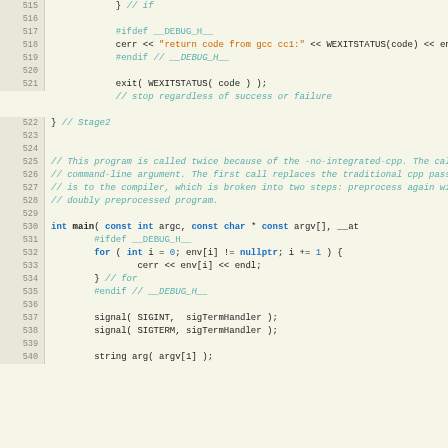[Figure (screenshot): Source code listing in C++ with line numbers 515-540, showing code for a compiler driver program with debug macros, exit calls, comments about gcc stages, and a main function.]